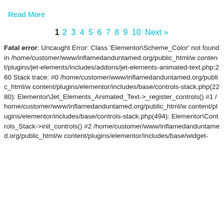Read More
1 2 3 4 5 6 7 8 9 10 Next »
Fatal error: Uncaught Error: Class 'Elementor\Scheme_Color' not found in /home/customer/www/inflamedanduntamed.org/public_html/w content/plugins/jet-elements/includes/addons/jet-elements-animated-text.php:260 Stack trace: #0 /home/customer/www/inflamedanduntamed.org/public_html/w content/plugins/elementor/includes/base/controls-stack.php(2280): Elementor\Jet_Elements_Animated_Text->_register_controls() #1 /home/customer/www/inflamedanduntamed.org/public_html/w content/plugins/elementor/includes/base/controls-stack.php(494): Elementor\Controls_Stack->init_controls() #2 /home/customer/www/inflamedanduntamed.org/public_html/w content/plugins/elementor/includes/base/widget-